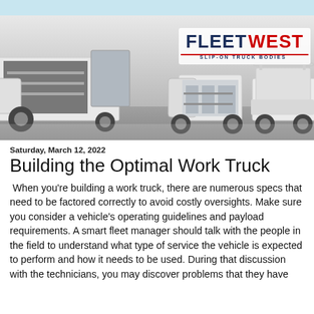[Figure (photo): Banner image showing a FleetWest slip-on truck body installation on a white pickup truck on the left with the body open, and two more white work trucks in the center and right background. The FleetWest logo with 'SLIP-ON TRUCK BODIES' subtitle appears in the upper right of the banner on a light background.]
Saturday, March 12, 2022
Building the Optimal Work Truck
When you're building a work truck, there are numerous specs that need to be factored correctly to avoid costly oversights. Make sure you consider a vehicle's operating guidelines and payload requirements. A smart fleet manager should talk with the people in the field to understand what type of service the vehicle is expected to perform and how it needs to be used. During that discussion with the technicians, you may discover problems that they have